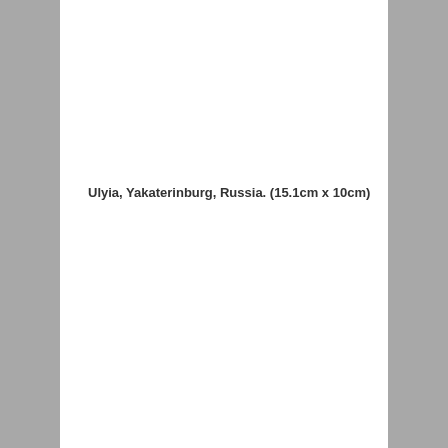Ulyia, Yakaterinburg, Russia. (15.1cm x 10cm)